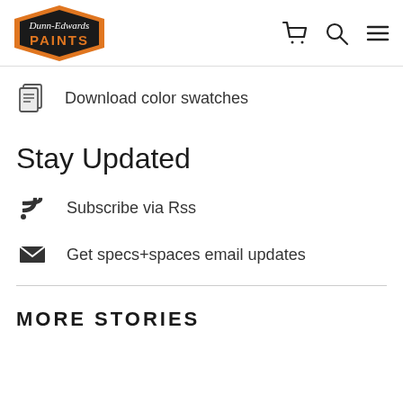[Figure (logo): Dunn-Edwards Paints logo: black hexagon with orange border, white script 'Dunn-Edwards' and orange 'PAINTS' text]
[Figure (other): Navigation icons: shopping cart, search magnifier, hamburger menu]
Download color swatches
Stay Updated
Subscribe via Rss
Get specs+spaces email updates
MORE STORIES